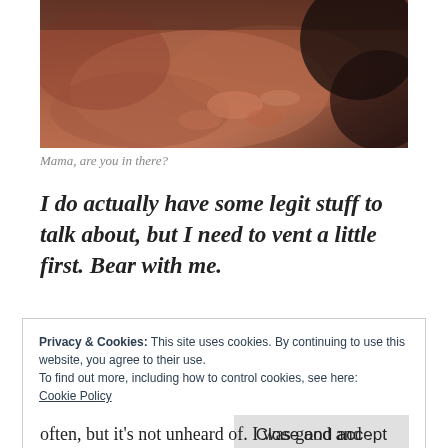[Figure (photo): Close-up blurred photo of an animal, warm brown tones, dark background in top right.]
Mama, are you in there?
I do actually have some legit stuff to talk about, but I need to vent a little first. Bear with me.
Privacy & Cookies: This site uses cookies. By continuing to use this website, you agree to their use.
To find out more, including how to control cookies, see here:
Cookie Policy
Close and accept
often, but it's not unheard of. I was good and